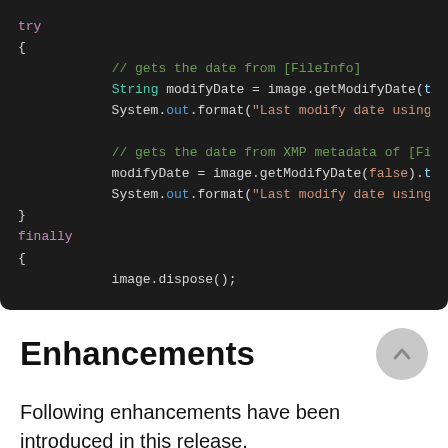[Figure (screenshot): Dark-themed code block showing Java try/finally code with syntax highlighting. try { // gets the date from [FileInfo] String modifyDate = image.getModifyDate(t... System.out.format("Last modify date using... // gets the date from XMP metadata of [Fi... modifyDate = image.getModifyDate(false).t... System.out.format("Last modify date using... } finally { image.dispose(); }]
Enhancements
Following enhancements have been introduced in this release.